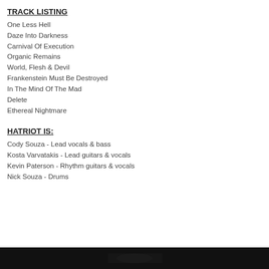TRACK LISTING
One Less Hell
Daze Into Darkness
Carnival Of Execution
Organic Remains
World, Flesh & Devil
Frankenstein Must Be Destroyed
In The Mind Of The Mad
Delete
Ethereal Nightmare
HATRIOT IS:
Cody Souza - Lead vocals & bass
Kosta Varvatakis - Lead guitars & vocals
Kevin Paterson - Rhythm guitars & vocals
Nick Souza - Drums
[Figure (photo): Dark band photo strip at the bottom of the page]